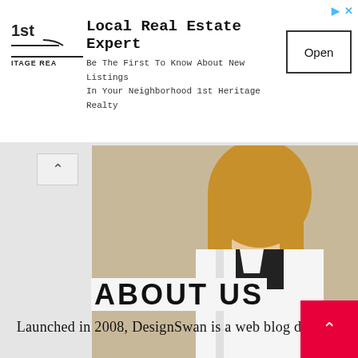[Figure (infographic): Advertisement banner for 1st Heritage Realty - Local Real Estate Expert. Text: 'Local Real Estate Expert - Be The First To Know About New Listings In Your Neighborhood 1st Heritage Realty' with an Open button.]
[Figure (photo): Advertisement for University of Charleston School of Pharmacy showing a female student in a white lab coat. Text overlay: 'Earn your Pharmacy Degree Here - Accredited Pharmacy Program on the campus of UCWV']
ABOUT US
Launched in 2008, DesignSwan is a web blog devoted